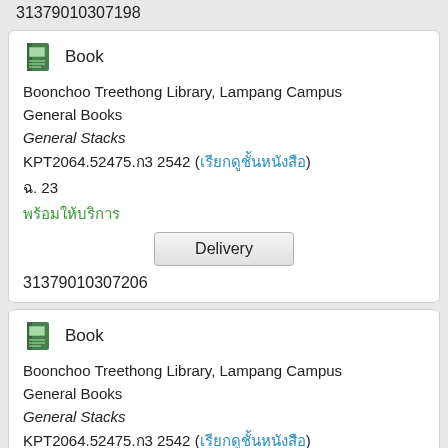31379010307198
Book
Boonchoo Treethong Library, Lampang Campus
General Books
General Stacks
KPT2064.52475.ก3 2542 (เรียกดูชั้นหนังสือ)
ฉ. 23
พร้อมให้บริการ
Delivery
31379010307206
Book
Boonchoo Treethong Library, Lampang Campus
General Books
General Stacks
KPT2064.52475.ก3 2542 (เรียกดูชั้นหนังสือ)